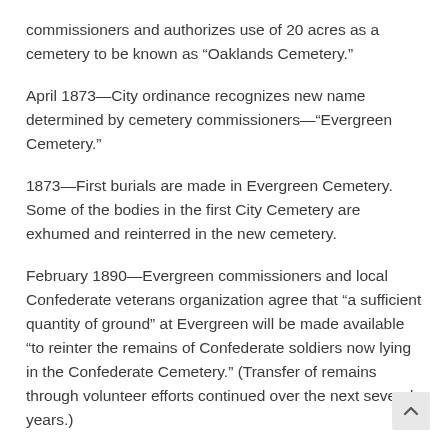commissioners and authorizes use of 20 acres as a cemetery to be known as “Oaklands Cemetery.”
April 1873—City ordinance recognizes new name determined by cemetery commissioners—“Evergreen Cemetery.”
1873—First burials are made in Evergreen Cemetery. Some of the bodies in the first City Cemetery are exhumed and reinterred in the new cemetery.
February 1890—Evergreen commissioners and local Confederate veterans organization agree that “a sufficient quantity of ground” at Evergreen will be made available “to reinter the remains of Confederate soldiers now lying in the Confederate Cemetery.” (Transfer of remains through volunteer efforts continued over the next several years.)
1907—Elaborate tomb and remains of Union University founder